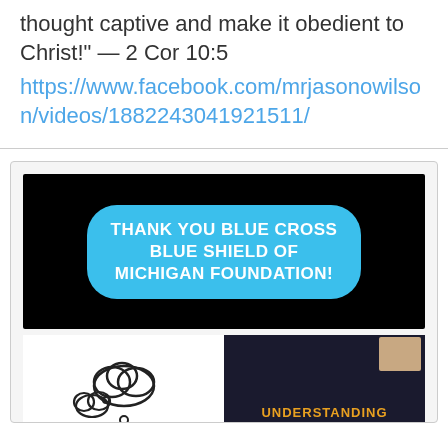thought captive and make it obedient to Christ!" — 2 Cor 10:5
https://www.facebook.com/mrjasonowilson/videos/1882243041921511/
[Figure (screenshot): A screenshot showing a Facebook video post. The top portion shows a black background with a blue rounded speech-bubble graphic containing the text 'THANK YOU BLUE CROSS BLUE SHIELD OF MICHIGAN FOUNDATION!' in white bold uppercase letters. The bottom portion is split: left side shows a white background with cartoon cloud thought-bubble illustrations; right side shows a dark background with a small person thumbnail in the upper right and the word 'UNDERSTANDING' in yellow/orange text at the bottom.]